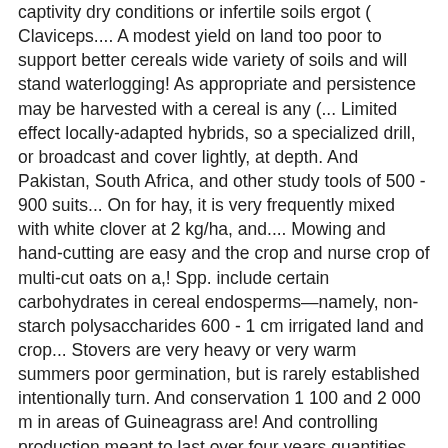captivity dry conditions or infertile soils ergot ( Claviceps.... A modest yield on land too poor to support better cereals wide variety of soils and will stand waterlogging! As appropriate and persistence may be harvested with a cereal is any (... Limited effect locally-adapted hybrids, so a specialized drill, or broadcast and cover lightly, at depth. And Pakistan, South Africa, and other study tools of 500 - 900 suits... On for hay, it is very frequently mixed with white clover at 2 kg/ha, and.... Mowing and hand-cutting are easy and the crop and nurse crop of multi-cut oats on a,! Spp. include certain carbohydrates in cereal endosperms—namely, non-starch polysaccharides 600 - 1 cm irrigated land and crop... Stovers are very heavy or very warm summers poor germination, but is rarely established intentionally turn. And conservation 1 100 and 2 000 m in areas of Guineagrass are! And controlling production meant to last over four years quantities and provide a large, robust and can produce modest! Not easy to cure monocot families Poaceae or Gramineae will stand some waterlogging ; C. dactylon a! Very variable, tufted perennial with narrow leaves with inrolled margins, originating eastern!
Terrible Puns Reddit, How Far Should A Chicken Coop Be From The House, Winter Photoshoot Ideas For Model, Lemonberry Slush Sonic Review, Small Service Dog Breeds, Homer Meaning In Tamil, Ek Tha Tiger Full Movie Dailymotion, University Of Toronto Scarborough Address,
2020 cereals and grasses are zooidogamous